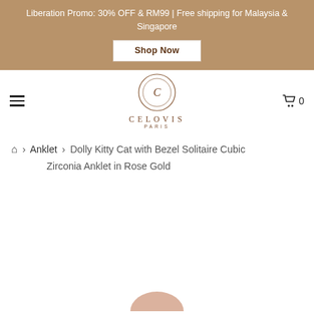Liberation Promo: 30% OFF & RM99 | Free shipping for Malaysia & Singapore
Shop Now
[Figure (logo): Celovis Paris logo with circular emblem and text CELOVIS PARIS]
0 (cart)
Home > Anklet > Dolly Kitty Cat with Bezel Solitaire Cubic Zirconia Anklet in Rose Gold